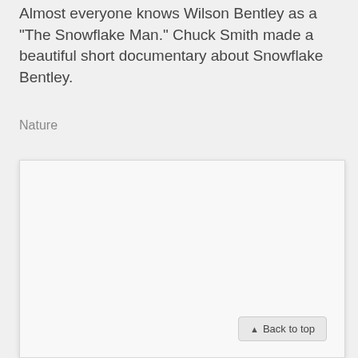Almost everyone knows Wilson Bentley as a "The Snowflake Man." Chuck Smith made a beautiful short documentary about Snowflake Bentley.
Nature
[Figure (other): A large empty white/light grey content area panel with a Back to top button in the bottom right corner.]